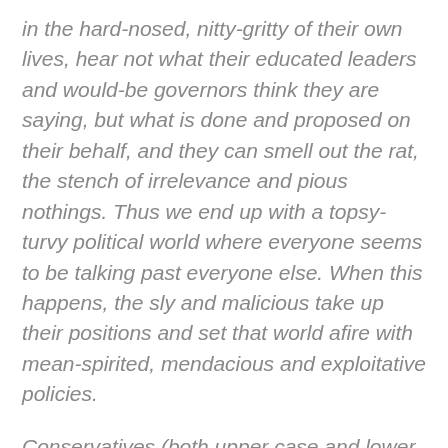in the hard-nosed, nitty-gritty of their own lives, hear not what their educated leaders and would-be governors think they are saying, but what is done and proposed on their behalf, and they can smell out the rat, the stench of irrelevance and pious nothings. Thus we end up with a topsy-turvy political world where everyone seems to be talking past everyone else. When this happens, the sly and malicious take up their positions and set that world afire with mean-spirited, mendacious and exploitative policies.
Conservatives (both upper case and lower case), know that they want to change an open and democratic culture into an authoritarian regime. They try to frame all intellectuals as a